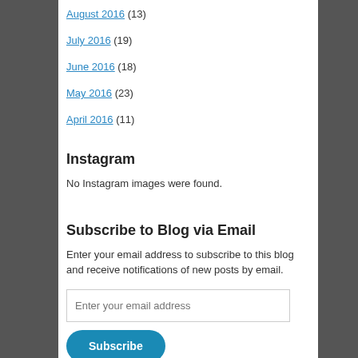August 2016 (13)
July 2016 (19)
June 2016 (18)
May 2016 (23)
April 2016 (11)
Instagram
No Instagram images were found.
Subscribe to Blog via Email
Enter your email address to subscribe to this blog and receive notifications of new posts by email.